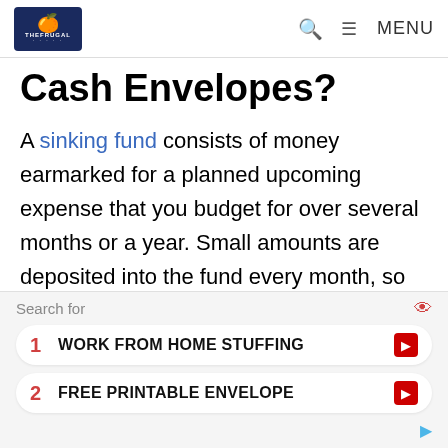THE FRUGAL [logo] | Search | MENU
Cash Envelopes?
A sinking fund consists of money earmarked for a planned upcoming expense that you budget for over several months or a year. Small amounts are deposited into the fund every month, so enough is saved up to cover the expense when it comes around.
You can set up a sinking fund for any
Search for
1  WORK FROM HOME STUFFING
2  FREE PRINTABLE ENVELOPE